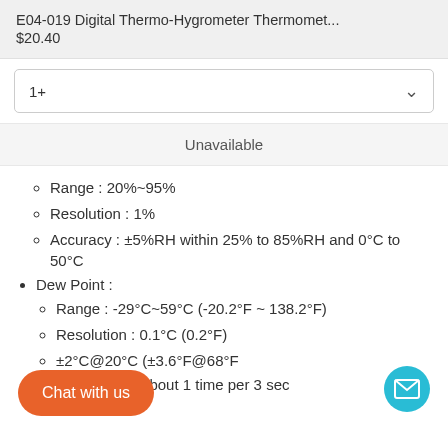E04-019 Digital Thermo-Hygrometer Thermomet...
$20.40
1+
Unavailable
Range : 20%~95%
Resolution : 1%
Accuracy : ±5%RH within 25% to 85%RH and 0°C to 50°C
Dew Point :
Range : -29°C~59°C (-20.2°F ~ 138.2°F)
Resolution : 0.1°C (0.2°F)
±2°C@20°C (±3.6°F@68°F
Sampling rate : about 1 time per 3 sec